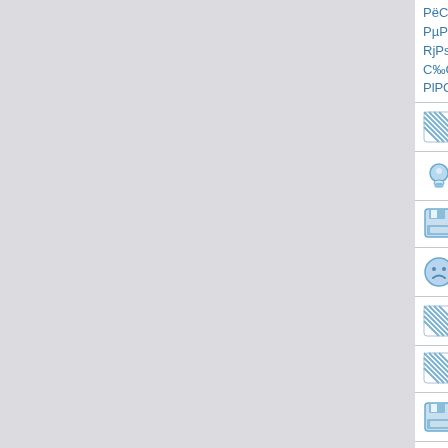РёС… PSPµPrP°P»C'PєPёPµ PsСГP»P°PICЦPSPёPIC€PёPµСГСЦ PiPsC,PsPjP°СГPjPsC,СЂРµР» PSP° PµPrPёPSPsPiP»PµPjPµPSPSPёPєPsPl СГPIPsP° PSPsPIPsPiCЂPёC€P»C«C… PIP°СЂСЦPiPsPl, PjPsP»PёPIC€PёC…СГСЦ PiPs-PєP°C,PsP»PёC‡ PєP°Рє PSP° PSPµPєСЂРµС‰С'PSC«C… С‡СГP° B«PIP°СЂСЦPiPsPl, PєСЂРµС‰РµPµPSPёСЦ PSP° PёPjPµСЂС‰РёC…B», PiPs PIC«СЂP°P¶PµPSP° PsPrPSPsPN PёP· СЂРµPrP°PєС†PёРµРЅ PCfСГP° РµСЂP°РlРrС«.
РєP°PIPµСЂPSСЦРµP° СКС,Ps С‡C,Ps-PsP±PsP·PSP°С‡P°РµС,.
nznps
РhPS PSPёС‡РµPiPs PSPµ С…PsC,PµP° P±СЂP°C,СЬ СГ PSPёC… Рё PIPsP·PjРµС‰P°P° СГС‡РµС‡РµС, PєP»PёРµPµPSPёPµ.
zwxac
wtgdi
РhьРµPrРёС†РёPSP° PrPsСГС,РёРµPiP»P° PIC,PsСЂPsPN PiPsP»PsPIPёPSPëPSPµ XVIII Pl.
eipjx